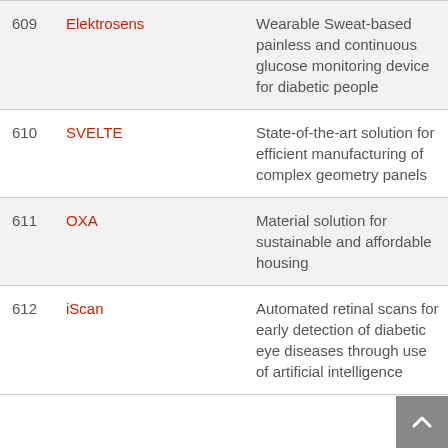| # | Name | Description |
| --- | --- | --- |
| 609 | Elektrosens | Wearable Sweat-based painless and continuous glucose monitoring device for diabetic people |
| 610 | SVELTE | State-of-the-art solution for efficient manufacturing of complex geometry panels |
| 611 | OXA | Material solution for sustainable and affordable housing |
| 612 | iScan | Automated retinal scans for early detection of diabetic eye diseases through use of artificial intelligence |